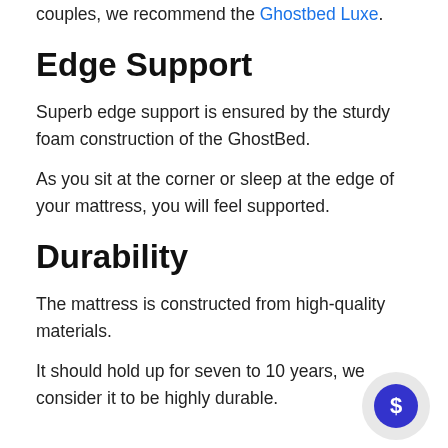couples, we recommend the Ghostbed Luxe.
Edge Support
Superb edge support is ensured by the sturdy foam construction of the GhostBed.
As you sit at the corner or sleep at the edge of your mattress, you will feel supported.
Durability
The mattress is constructed from high-quality materials.
It should hold up for seven to 10 years, we consider it to be highly durable.